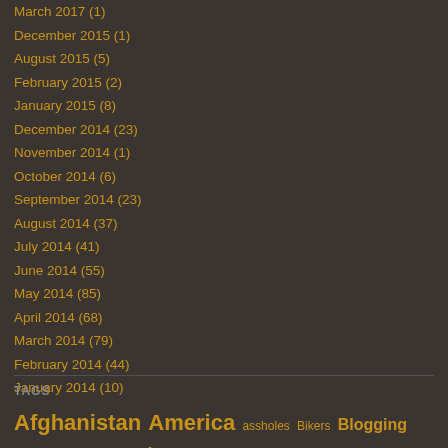March 2017 (1)
December 2015 (1)
August 2015 (5)
February 2015 (2)
January 2015 (8)
December 2014 (23)
November 2014 (1)
October 2014 (6)
September 2014 (23)
August 2014 (37)
July 2014 (41)
June 2014 (55)
May 2014 (85)
April 2014 (68)
March 2014 (79)
February 2014 (44)
January 2014 (10)
TAGS
Afghanistan America assholes Bikers Blogging Bruning Street BUD/s California